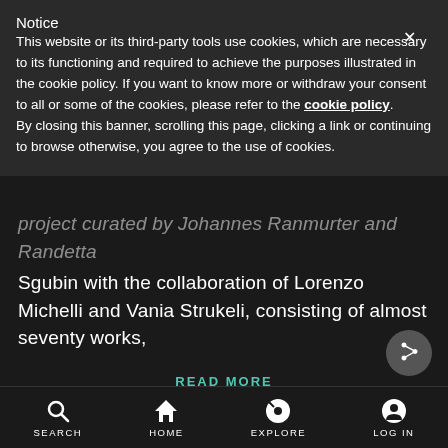Notice
This website or its third-party tools use cookies, which are necessary to its functioning and required to achieve the purposes illustrated in the cookie policy. If you want to know more or withdraw your consent to all or some of the cookies, please refer to the cookie policy. By closing this banner, scrolling this page, clicking a link or continuing to browse otherwise, you agree to the use of cookies.
project curated by Johannes Ranmurter and Randetta Sgubin with the collaboration of Lorenzo Michelli and Vania Strukeli, consisting of almost seventy works,
READ MORE
[Figure (screenshot): Share button icon - circular grey button with arrow/share symbol]
SEARCH  HOME  EXPLORE  LOG IN